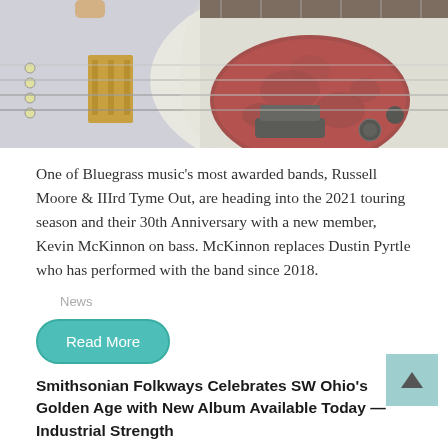[Figure (photo): Close-up photo of a bass guitar with a red tortoiseshell pickguard, white body, dark fretboard, and visible tuning pegs and pickups. Fingers visible at top.]
One of Bluegrass music's most awarded bands, Russell Moore & IIIrd Tyme Out, are heading into the 2021 touring season and their 30th Anniversary with a new member, Kevin McKinnon on bass. McKinnon replaces Dustin Pyrtle who has performed with the band since 2018.
News
Read More
Smithsonian Folkways Celebrates SW Ohio's Golden Age with New Album Available Today — Industrial Strength